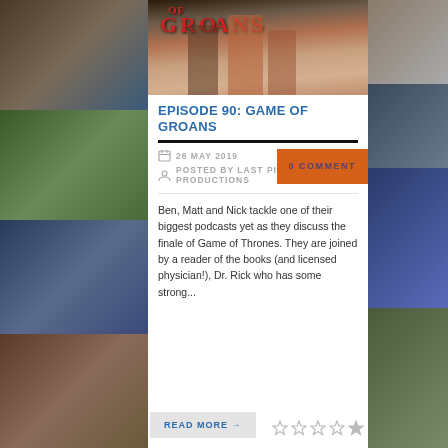[Figure (photo): Left sidebar collage of multiple TV/movie stills]
[Figure (photo): Hero image showing Game of Groans title card with costumed figures]
EPISODE 90: GAME OF GROANS
26 MAY 2019
POSTED BY LAST PINT PRODUCTIONS
0 COMMENT
Ben, Matt and Nick tackle one of their biggest podcasts yet as they discuss the finale of Game of Thrones. They are joined by a reader of the books (and licensed physician!), Dr. Rick who has some strong...
READ MORE →
[Figure (photo): Right sidebar collage of multiple TV/movie stills]